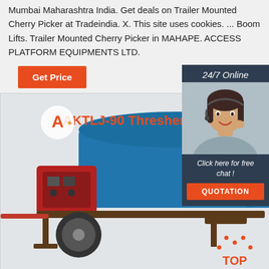Mumbai Maharashtra India. Get deals on Trailer Mounted Cherry Picker at Tradeindia. X. This site uses cookies. ... Boom Lifts. Trailer Mounted Cherry Picker in MAHAPE. ACCESS PLATFORM EQUIPMENTS LTD.
Get Price
[Figure (infographic): Chat widget overlay with agent photo, '24/7 Online' label, 'Click here for free chat!' text, and orange QUOTATION button]
[Figure (photo): AKTLJ-90 Thresher machine - blue agricultural threshing machine on wheeled trailer with engine, company logo (A) in top left]
AKTLJ-90 Thresher
Click here for free chat !
QUOTATION
TOP